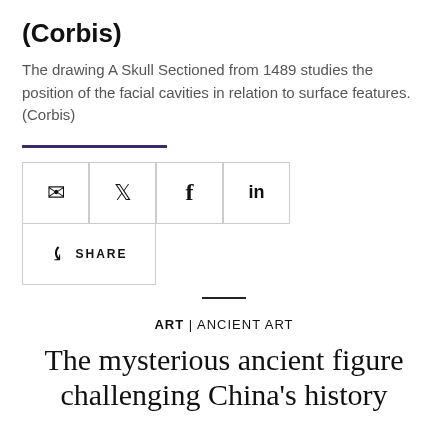(Corbis)
The drawing A Skull Sectioned from 1489 studies the position of the facial cavities in relation to surface features. (Corbis)
[Figure (infographic): A purple horizontal divider line, followed by a row of four social share icon boxes (email, Twitter, Facebook, LinkedIn) and a wider share button below with a share icon and the word SHARE]
ART | ANCIENT ART
The mysterious ancient figure challenging China's history